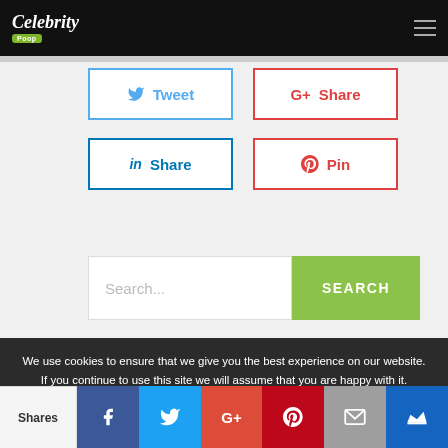Celebrity [logo] — navigation header with hamburger menu
[Figure (screenshot): Social share buttons: Tweet (Twitter), Share (Google+), Share (LinkedIn), Pin (Pinterest)]
[Figure (screenshot): Search bar with text input placeholder 'Search...' and green SEARCH button]
We use cookies to ensure that we give you the best experience on our website. If you continue to use this site we will assume that you are happy with it.
Shares | Facebook | Twitter | Google+ | Pinterest | Email | Crown